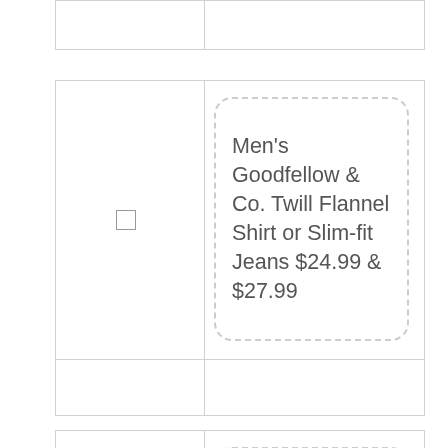[Figure (other): Partial top card row from a product listing table]
Men's Goodfellow & Co. Twill Flannel Shirt or Slim-fit Jeans $24.99 & $27.99
Men's C9 Champion Long-sleeve Tech T-shirt or Run Pants